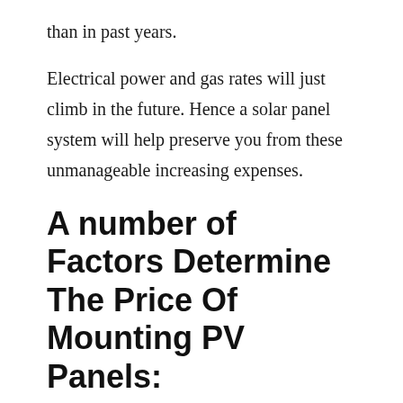than in past years.
Electrical power and gas rates will just climb in the future. Hence a solar panel system will help preserve you from these unmanageable increasing expenses.
A number of Factors Determine The Price Of Mounting PV Panels:
Your preferred solar panel type